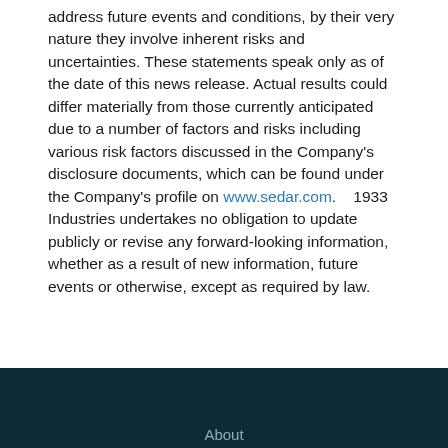address future events and conditions, by their very nature they involve inherent risks and uncertainties. These statements speak only as of the date of this news release. Actual results could differ materially from those currently anticipated due to a number of factors and risks including various risk factors discussed in the Company's disclosure documents, which can be found under the Company's profile on www.sedar.com.    1933 Industries undertakes no obligation to update publicly or revise any forward-looking information, whether as a result of new information, future events or otherwise, except as required by law.
About